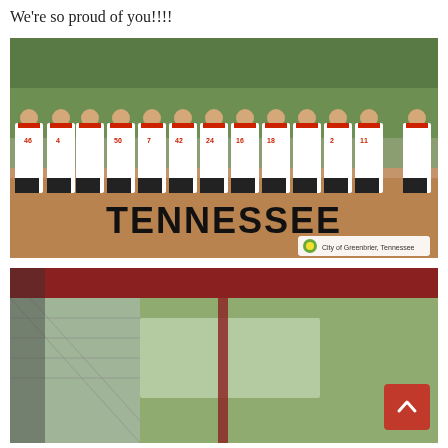We're so proud of you!!!!
[Figure (photo): Tennessee youth baseball team photo showing approximately 12 players in white baseball uniforms with red accents and black socks, standing on a baseball field. The word TENNESSEE is displayed in large bold black text at the bottom of the image, with a City of Greenbrier, Tennessee watermark in the lower right corner.]
[Figure (photo): Partial view of a baseball dugout or covered area with chain-link fence, red metal structure, and green trees visible in the background.]